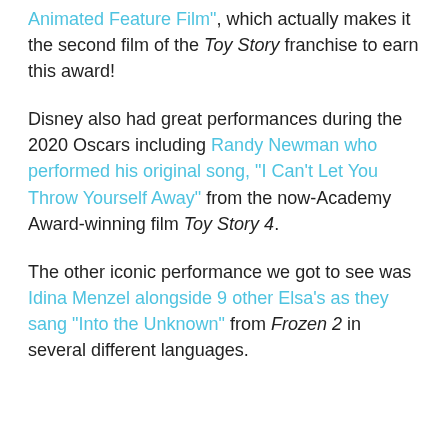Animated Feature Film", which actually makes it the second film of the Toy Story franchise to earn this award!
Disney also had great performances during the 2020 Oscars including Randy Newman who performed his original song, “I Can’t Let You Throw Yourself Away” from the now-Academy Award-winning film Toy Story 4.
The other iconic performance we got to see was Idina Menzel alongside 9 other Elsa’s as they sang “Into the Unknown” from Frozen 2 in several different languages.